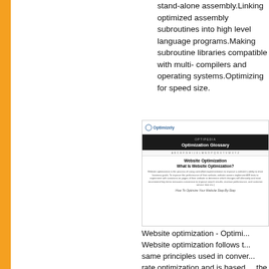stand-alone assembly.Linking optimized assembly subroutines into high level language programs.Making subroutine libraries compatible with multiple compilers and operating systems.Optimizing for speed and size.
[Figure (screenshot): Screenshot of Optimizely website showing OPTIPEDIA - Optimization Glossary page with 'Website Optimization' article. Shows 'What Is Website Optimization?' heading and 'How To Optimize Your Website Step-By-Step' link.]
Website optimization - Optimizely. Website optimization follows the same principles used in conversion rate optimization and is based on the scientific method. Determin the objective of your website optimization. Different bein...